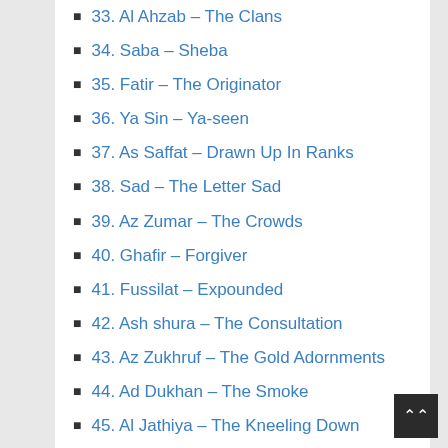33. Al Ahzab – The Clans
34. Saba – Sheba
35. Fatir – The Originator
36. Ya Sin – Ya-seen
37. As Saffat – Drawn Up In Ranks
38. Sad – The Letter Sad
39. Az Zumar – The Crowds
40. Ghafir – Forgiver
41. Fussilat – Expounded
42. Ash shura – The Consultation
43. Az Zukhruf – The Gold Adornments
44. Ad Dukhan – The Smoke
45. Al Jathiya – The Kneeling Down
46. Al Ahqaf – The Dunes